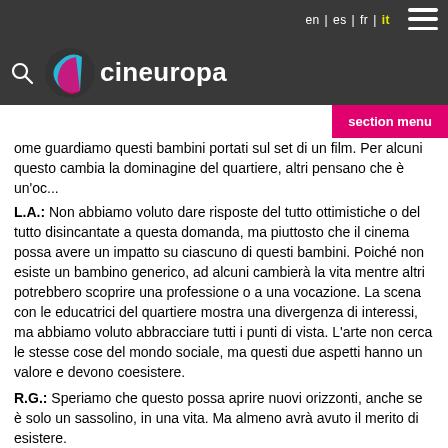cineuropa — en | es | fr | it
ome guardiamo questi bambini portati sul set di un film. Per alcuni questo cambia la dominagine del quartiere, altri pensano che è un'oc...
L.A.: Non abbiamo voluto dare risposte del tutto ottimistiche o del tutto disincantate a questa domanda, ma piuttosto che il cinema possa avere un impatto su ciascuno di questi bambini. Poiché non esiste un bambino generico, ad alcuni cambierà la vita mentre altri potrebbero scoprire una professione o a una vocazione. La scena con le educatrici del quartiere mostra una divergenza di interessi, ma abbiamo voluto abbracciare tutti i punti di vista. L'arte non cerca le stesse cose del mondo sociale, ma questi due aspetti hanno un valore e devono coesistere.
R.G.: Speriamo che questo possa aprire nuovi orizzonti, anche se è solo un sassolino, in una vita. Ma almeno avrà avuto il merito di esistere.
(L'articolo continua qui sotto - Inf. pubblicitaria)
(Tradotto dal francese)
Ti è piaciuto questo articolo? Iscriviti alla nostra newsletter per ricevere altri articoli direttamente nella tua casella di posta.